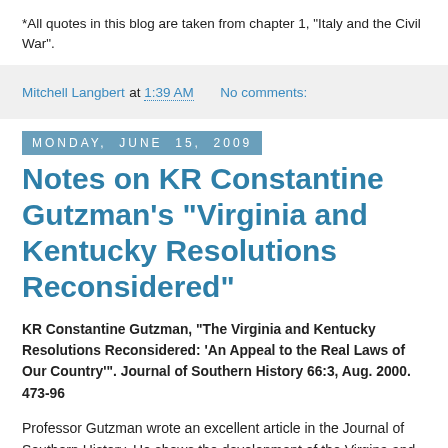*All quotes in this blog are taken from chapter 1, "Italy and the Civil War".
Mitchell Langbert at 1:39 AM   No comments:
Monday, June 15, 2009
Notes on KR Constantine Gutzman's "Virginia and Kentucky Resolutions Reconsidered"
KR Constantine Gutzman, "The Virginia and Kentucky Resolutions Reconsidered: 'An Appeal to the Real Laws of Our Country'". Journal of Southern History 66:3, Aug. 2000. 473-96
Professor Gutzman wrote an excellent article in the Journal of Southern History. He shows the development of the Virgina and Kentucky Resolutions of 1798, which Jefferson (Kentucky) and Madison (Virginia) authored in light of